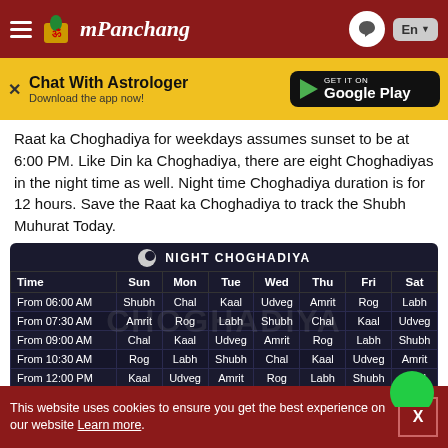mPanchang
[Figure (screenshot): Chat With Astrologer app banner with Google Play button]
Raat ka Choghadiya for weekdays assumes sunset to be at 6:00 PM. Like Din ka Choghadiya, there are eight Choghadiyas in the night time as well. Night time Choghadiya duration is for 12 hours. Save the Raat ka Choghadiya to track the Shubh Muhurat Today.
| Time | Sun | Mon | Tue | Wed | Thu | Fri | Sat |
| --- | --- | --- | --- | --- | --- | --- | --- |
| From 06:00 AM | Shubh | Chal | Kaal | Udveg | Amrit | Rog | Labh |
| From 07:30 AM | Amrit | Rog | Labh | Shubh | Chal | Kaal | Udveg |
| From 09:00 AM | Chal | Kaal | Udveg | Amrit | Rog | Labh | Shubh |
| From 10:30 AM | Rog | Labh | Shubh | Chal | Kaal | Udveg | Amrit |
| From 12:00 PM | Kaal | Udveg | Amrit | Rog | Labh | Shubh | Chal |
| From 01:30 PM | Labh | Shubh | Chal | Kaal | Udveg | Amrit |  |
This website uses cookies to ensure you get the best experience on our website Learn more.